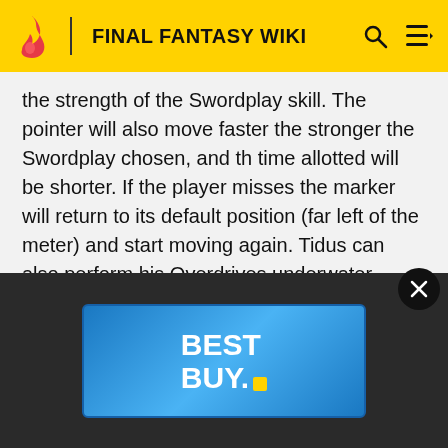FINAL FANTASY WIKI
the strength of the Swordplay skill. The pointer will also move faster the stronger the Swordplay chosen, and the time allotted will be shorter. If the player misses the marker will return to its default position (far left of the meter) and start moving again. Tidus can also perform his Overdrives underwater, where his attacks van have different animation to accommodate.
Battle quotes
Main article: Tidus/Quotes
[Figure (other): Best Buy advertisement banner with blue gradient background and white bold text reading BEST BUY with a yellow rectangle logo element]